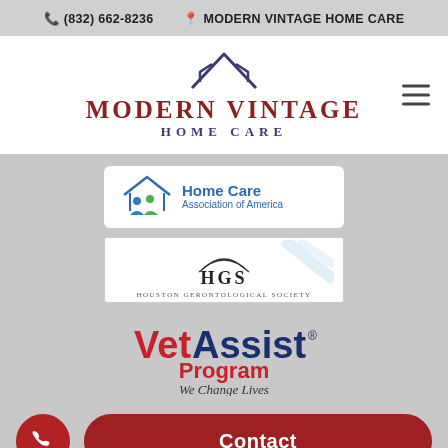(832) 662-8236  MODERN VINTAGE HOME CARE
[Figure (logo): Modern Vintage Home Care logo with house outline in navy, text MODERN VINTAGE in dark red serif, HOME CARE in navy serif]
[Figure (logo): Home Care Association of America logo with blue house outline and green/blue people icons]
[Figure (logo): HGS Houston Gerontological Society logo with arc lines above HGS text]
[Figure (logo): VetAssist Program - We Change Lives logo in red and navy]
Contact
Approved Senior Network